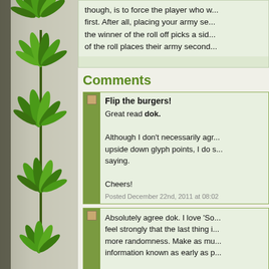[Figure (illustration): Left sidebar with stylized green cannabis/hemp plant leaves decorating the border against a stone-textured background]
though, is to force the player who w... first. After all, placing your army se... the winner of the roll off picks a sid... of the roll places their army second...
Comments
Flip the burgers!
Great read dok.

Although I don't necessarily agr... upside down glyph points, I do s... saying.

Cheers!

Posted December 22nd, 2011 at 08:02
Absolutely agree dok. I love 'So... feel strongly that the last thing i... more randomness. Make as mu... information known as early as p...

It's from this position that I early... cartographical excursions only n... glyphs. (Two Wannoks, or two...